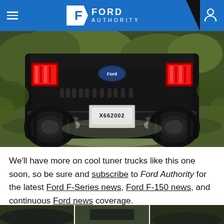Ford Authority
[Figure (photo): Rear view of a blacked-out lifted Ford F-150 truck with red taillights, aftermarket bumper, and license plate X662002, photographed outdoors in a grassy field with trees in the background.]
We'll have more on cool tuner trucks like this one soon, so be sure and subscribe to Ford Authority for the latest Ford F-Series news, Ford F-150 news, and continuous Ford news coverage.
[Figure (photo): Bottom thumbnail strip showing partial images of additional vehicles or related content.]